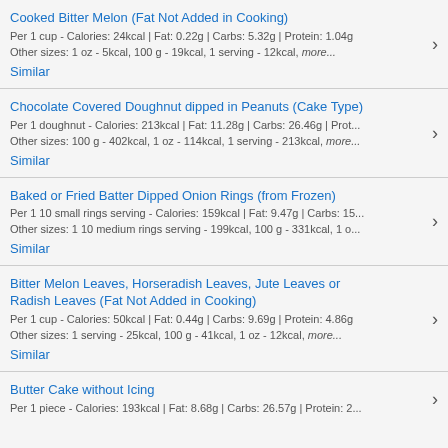Cooked Bitter Melon (Fat Not Added in Cooking)
Per 1 cup - Calories: 24kcal | Fat: 0.22g | Carbs: 5.32g | Protein: 1.04g
Other sizes: 1 oz - 5kcal, 100 g - 19kcal, 1 serving - 12kcal, more...
Similar
Chocolate Covered Doughnut dipped in Peanuts (Cake Type)
Per 1 doughnut - Calories: 213kcal | Fat: 11.28g | Carbs: 26.46g | Prot...
Other sizes: 100 g - 402kcal, 1 oz - 114kcal, 1 serving - 213kcal, more...
Similar
Baked or Fried Batter Dipped Onion Rings (from Frozen)
Per 1 10 small rings serving - Calories: 159kcal | Fat: 9.47g | Carbs: 15...
Other sizes: 1 10 medium rings serving - 199kcal, 100 g - 331kcal, 1 o...
Similar
Bitter Melon Leaves, Horseradish Leaves, Jute Leaves or Radish Leaves (Fat Not Added in Cooking)
Per 1 cup - Calories: 50kcal | Fat: 0.44g | Carbs: 9.69g | Protein: 4.86g
Other sizes: 1 serving - 25kcal, 100 g - 41kcal, 1 oz - 12kcal, more...
Similar
Butter Cake without Icing
Per 1 piece - Calories: 193kcal | Fat: 8.68g | Carbs: 26.57g | Protein: 2...